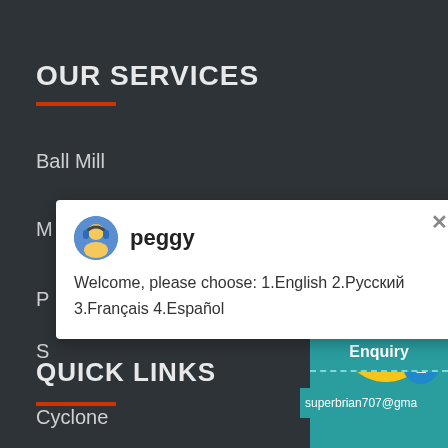OUR SERVICES
Ball Mill
M…
P…
S…
Cyclone
[Figure (screenshot): Chat popup with avatar of peggy, message: Welcome, please choose: 1.English 2.Русский 3.Français 4.Español, and a close button. Right side has a teal chat widget with smiley face, notification badge '1', 'Click me to chat >>' button, Enquiry bar, and email address superbrian707@gma...]
QUICK LINKS